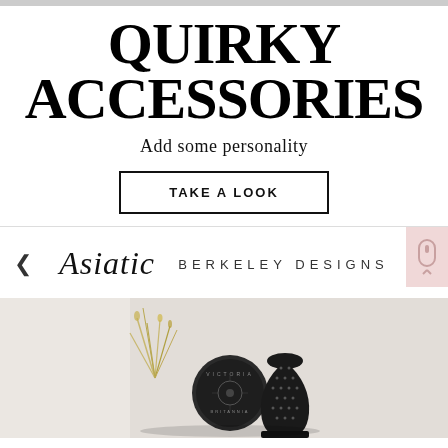QUIRKY ACCESSORIES
Add some personality
TAKE A LOOK
Asiatic
BERKELEY DESIGNS
[Figure (photo): Product photo showing decorative thimbles and accessories on a light background]